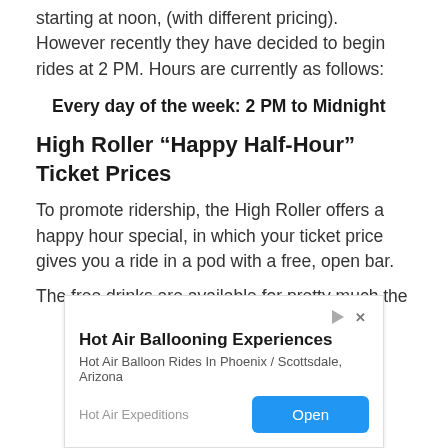starting at noon, (with different pricing). However recently they have decided to begin rides at 2 PM. Hours are currently as follows:
Every day of the week: 2 PM to Midnight
High Roller “Happy Half-Hour” Ticket Prices
To promote ridership, the High Roller offers a happy hour special, in which your ticket price gives you a ride in a pod with a free, open bar.
The free drinks are available for pretty much the
[Figure (other): Advertisement banner for Hot Air Ballooning Experiences by Hot Air Expeditions. Shows title 'Hot Air Ballooning Experiences', subtitle 'Hot Air Balloon Rides In Phoenix / Scottsdale, Arizona', brand name 'Hot Air Expeditions', and an 'Open' button in blue.]